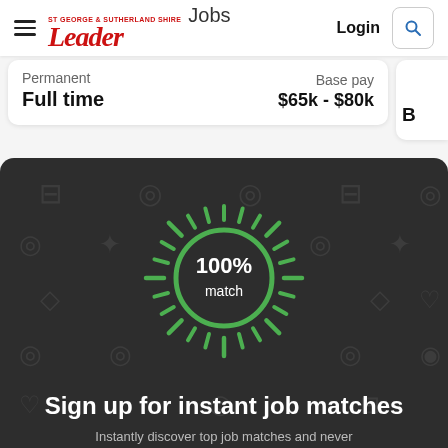St George & Sutherland Shire Leader Jobs — Login
Permanent
Full time
Base pay
$65k - $80k
[Figure (infographic): Dark background promotional banner with a green sunburst and circle showing '100% match' text, with background job category icons pattern]
Sign up for instant job matches
Instantly discover top job matches and never